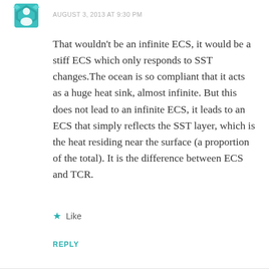[Figure (logo): Teal/green decorative avatar icon with diamond/shield shape pattern]
AUGUST 3, 2013 AT 9:30 PM
That wouldn't be an infinite ECS, it would be a stiff ECS which only responds to SST changes.The ocean is so compliant that it acts as a huge heat sink, almost infinite. But this does not lead to an infinite ECS, it leads to an ECS that simply reflects the SST layer, which is the heat residing near the surface (a proportion of the total). It is the difference between ECS and TCR.
Like
REPLY